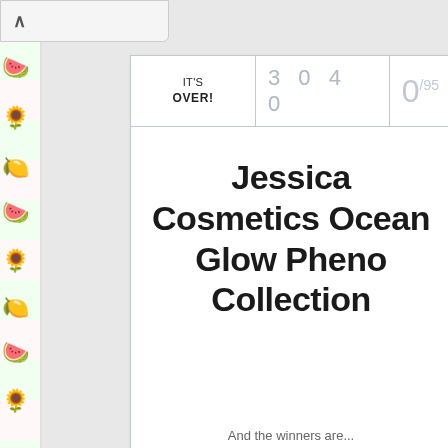[Figure (illustration): Left decorative strip with fruit pattern (watermelons, sunflowers, lemons) on white background]
[Figure (screenshot): A browser or app UI showing a product listing page. Status bar shows IT'S OVER!, score 3040, and 0/95. Main content shows product title: Jessica Cosmetics Ocean Glow Pheno Collection]
IT'S OVER!
3 0 4 0
0/95
Jessica Cosmetics Ocean Glow Pheno Collection